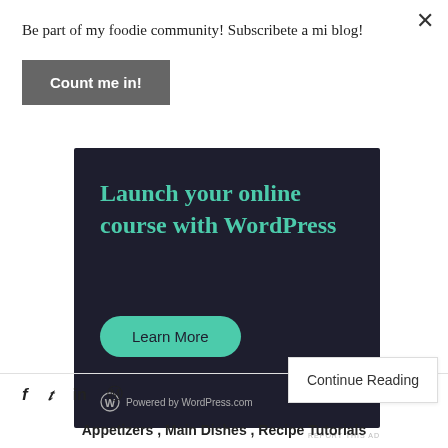Be part of my foodie community! Subscribete a mi blog!
×
Count me in!
[Figure (screenshot): Dark advertisement banner for WordPress online course. Teal headline text reads 'Launch your online course with WordPress'. Teal rounded 'Learn More' button. WordPress logo and 'Powered by WordPress.com' at bottom.]
REPORT THIS AD
Continue Reading
f  twitter  in  pinterest (social share icons)
Appetizers , Main Dishes , Recipe Tutorials